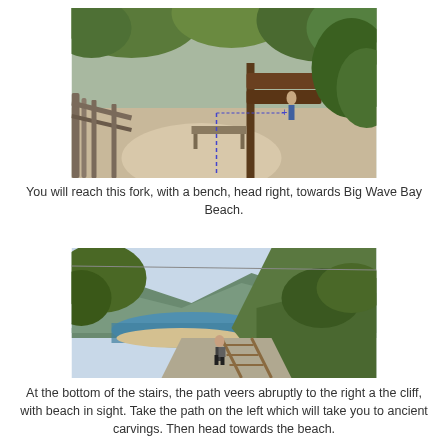[Figure (photo): A hiking trail fork with a bench, a brown wooden signpost pointing right, surrounded by trees and a railing on the left. A dashed annotation line is overlaid on the path.]
You will reach this fork, with a bench, head right, towards Big Wave Bay Beach.
[Figure (photo): A scenic overlook showing a bay beach below with green hills and mountains in the background. A hiker stands at the top of stairs with a railing descending toward the beach.]
At the bottom of the stairs, the path veers abruptly to the right a the cliff, with beach in sight. Take the path on the left which will take you to ancient carvings. Then head towards the beach.